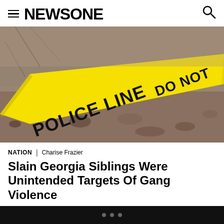NEWSONE
[Figure (photo): Yellow police line tape lying on the ground on a rocky surface, with 'POLICE LINE DO NOT CROSS' text visible on the yellow tape. Blurred background with brown and grey tones.]
NATION | Charise Frazier
Slain Georgia Siblings Were Unintended Targets Of Gang Violence
Daveon Coates, 15, and his sister, 11-year-old Tatiyana Coates,